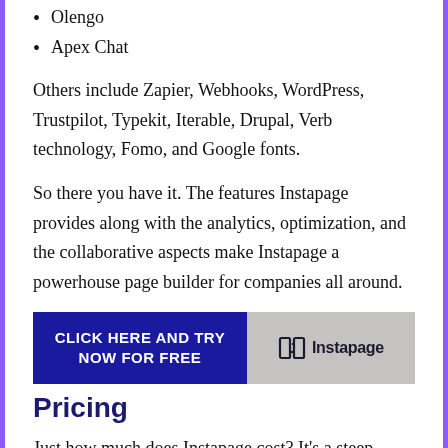Olengo
Apex Chat
Others include Zapier, Webhooks, WordPress, Trustpilot, Typekit, Iterable, Drupal, Verb technology, Fomo, and Google fonts.
So there you have it. The features Instapage provides along with the analytics, optimization, and the collaborative aspects make Instapage a powerhouse page builder for companies all around.
[Figure (infographic): Advertisement banner with dark blue left panel reading 'CLICK HERE AND TRY NOW FOR FREE' in white bold text, and right panel with Instapage logo on grey background with blurred office image.]
Pricing
Just how much does Instapage cost? It's a steep price, to be blunt. The plan starts at $149 and has limited features compared to the higher-priced plans that come with a lot more.